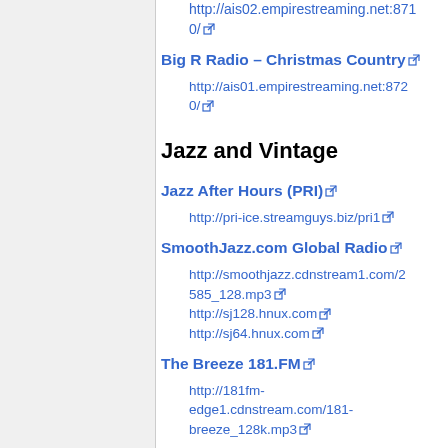http://ais02.empirestreaming.net:8710/
Big R Radio – Christmas Country
http://ais01.empirestreaming.net:8720/
Jazz and Vintage
Jazz After Hours (PRI)
http://pri-ice.streamguys.biz/pri1
SmoothJazz.com Global Radio
http://smoothjazz.cdnstream1.com/2585_128.mp3
http://sj128.hnux.com
http://sj64.hnux.com
The Breeze 181.FM
http://181fm-edge1.cdnstream.com/181-breeze_128k.mp3